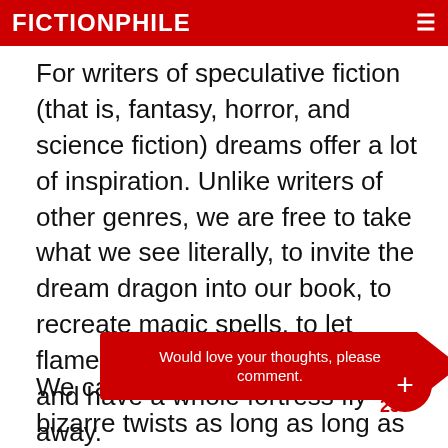FICTIONPHILE
For writers of speculative fiction (that is, fantasy, horror, and science fiction) dreams offer a lot of inspiration. Unlike writers of other genres, we are free to take what we see literally, to invite the dream dragon into our book, to recreate magic spells, to let flames rain down from heaven, and have a whole fortress fly away.
We can use plot elements and bizarre twists as long as long as we make these ever... invented world. This permitted me to write
Would love your thoughts, please comment.